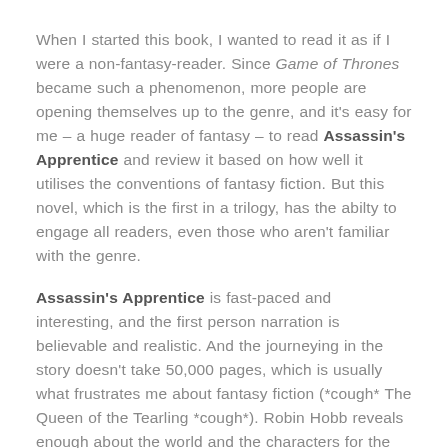When I started this book, I wanted to read it as if I were a non-fantasy-reader. Since Game of Thrones became such a phenomenon, more people are opening themselves up to the genre, and it's easy for me – a huge reader of fantasy – to read Assassin's Apprentice and review it based on how well it utilises the conventions of fantasy fiction. But this novel, which is the first in a trilogy, has the abilty to engage all readers, even those who aren't familiar with the genre.
Assassin's Apprentice is fast-paced and interesting, and the first person narration is believable and realistic. And the journeying in the story doesn't take 50,000 pages, which is usually what frustrates me about fantasy fiction (*cough* The Queen of the Tearling *cough*). Robin Hobb reveals enough about the world and the characters for the reader to understand the story, but not too much where the